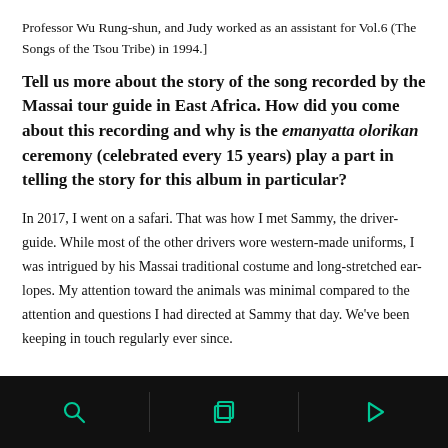Professor Wu Rung-shun, and Judy worked as an assistant for Vol.6 (The Songs of the Tsou Tribe) in 1994.]
Tell us more about the story of the song recorded by the Massai tour guide in East Africa. How did you come about this recording and why is the emanyatta olorikan ceremony (celebrated every 15 years) play a part in telling the story for this album in particular?
In 2017, I went on a safari. That was how I met Sammy, the driver-guide. While most of the other drivers wore western-made uniforms, I was intrigued by his Massai traditional costume and long-stretched ear-lopes. My attention toward the animals was minimal compared to the attention and questions I had directed at Sammy that day. We've been keeping in touch regularly ever since.